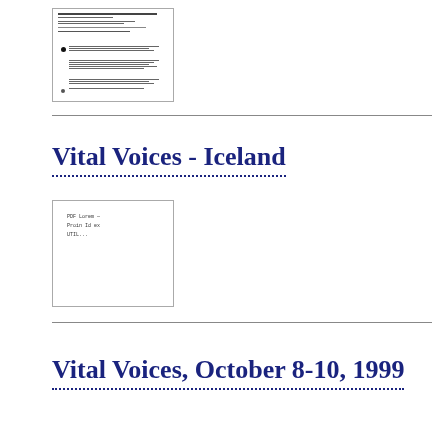[Figure (screenshot): Thumbnail image of a document page with text lines and bullet points]
Vital Voices - Iceland
[Figure (screenshot): Thumbnail image of a document page with small text]
Vital Voices, October 8-10, 1999